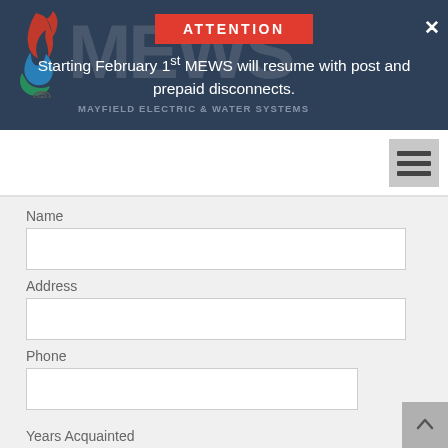[Figure (logo): MEWS - Mayfield Electric & Water Systems logo with flame/water droplet icon and MEWS text watermark]
ATTENTION
Starting February 1st MEWS will resume with post and prepaid disconnects.
MAYFIELD ELECTRIC & WATER SYSTEMS
Name
Address
Phone
Years Acquainted